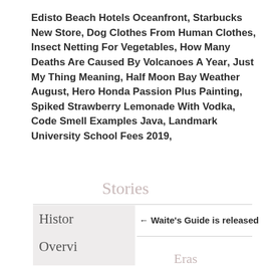Edisto Beach Hotels Oceanfront, Starbucks New Store, Dog Clothes From Human Clothes, Insect Netting For Vegetables, How Many Deaths Are Caused By Volcanoes A Year, Just My Thing Meaning, Half Moon Bay Weather August, Hero Honda Passion Plus Painting, Spiked Strawberry Lemonade With Vodka, Code Smell Examples Java, Landmark University School Fees 2019,
Stories
Histor
← Waite's Guide is released
Overvi
Eras
Mitch Waite Group →
Time
Periods